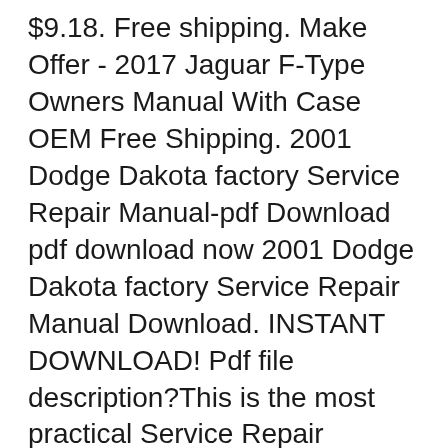$9.18. Free shipping. Make Offer - 2017 Jaguar F-Type Owners Manual With Case OEM Free Shipping. 2001 Dodge Dakota factory Service Repair Manual-pdf Download pdf download now 2001 Dodge Dakota factory Service Repair Manual Download. INSTANT DOWNLOAD! Pdf file description?This is the most practical Service Repair Manual for the 2001 Dodge Dakota Service Repair Manual Download ever compiled by mankind. This DOWNLOAD
Below you will find free PDF files for select years of your Dodge Dakota automobile. Skip to content. Just Give Me The Damn Manual 2004 Dodge Dakota Owners Manuals. 2005 Dodge